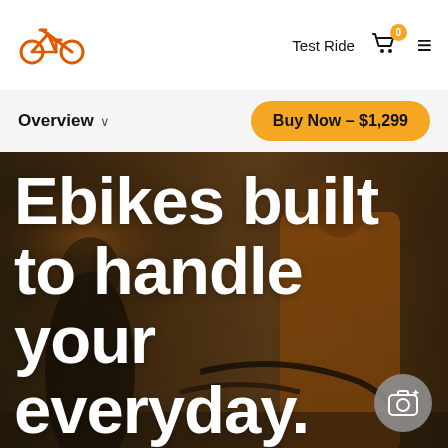[Figure (logo): Orange bicycle icon logo]
Test Ride
[Figure (other): Shopping cart icon with badge showing 0]
≡ hamburger menu
Overview ∨
Buy Now – $1,299
[Figure (photo): Urban outdoor photo background showing two people with an ebike. One person is a woman in a black jacket, another is a man in an orange jacket pushing a bicycle.]
Ebikes built to handle your everyday.
[Figure (other): Camera icon button (AI photo feature)]